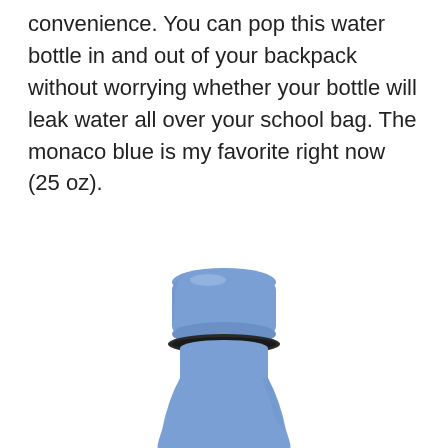convenience. You can pop this water bottle in and out of your backpack without worrying whether your bottle will leak water all over your school bag. The monaco blue is my favorite right now (25 oz).
[Figure (photo): Close-up photo of the top portion of a monaco blue water bottle with a rounded cap and dark ring seal, against a white background.]